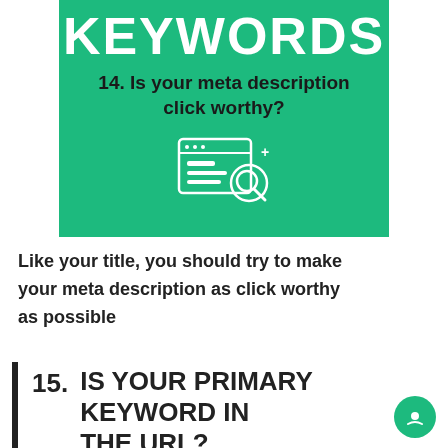[Figure (infographic): Green banner with KEYWORDS title, subtitle '14. Is your meta description click worthy?' and a search/document icon]
Like your title, you should try to make your meta description as click worthy as possible
15. IS YOUR PRIMARY KEYWORD IN THE URL?